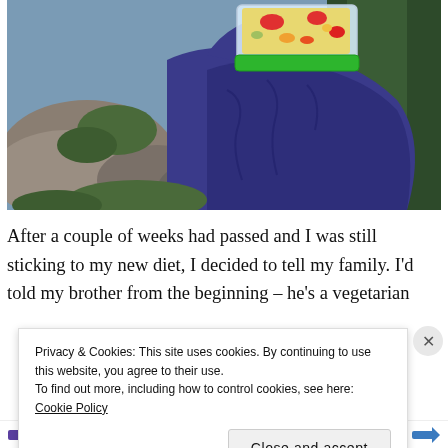[Figure (photo): A person wearing a dark purple/navy jacket holding up a clear plastic container with a green lid, filled with colorful food (appears to be a grain salad with red peppers and other vegetables). The background shows rocky terrain and evergreen trees.]
After a couple of weeks had passed and I was still sticking to my new diet, I decided to tell my family. I'd told my brother from the beginning – he's a vegetarian
Privacy & Cookies: This site uses cookies. By continuing to use this website, you agree to their use.
To find out more, including how to control cookies, see here: Cookie Policy
Close and accept